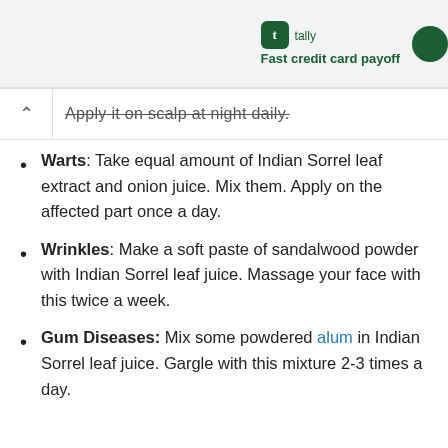tally Fast credit card payoff
Apply it on scalp at night daily.
Warts: Take equal amount of Indian Sorrel leaf extract and onion juice. Mix them. Apply on the affected part once a day.
Wrinkles: Make a soft paste of sandalwood powder with Indian Sorrel leaf juice. Massage your face with this twice a week.
Gum Diseases: Mix some powdered alum in Indian Sorrel leaf juice. Gargle with this mixture 2-3 times a day.